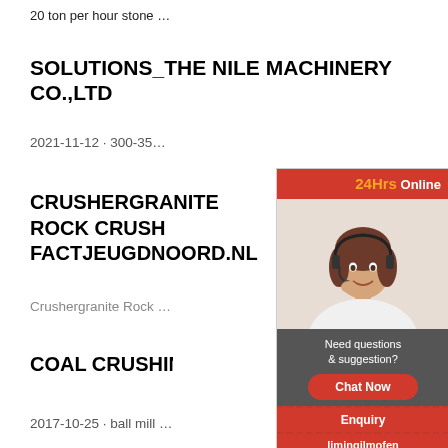20 ton per hour stone crusher granite stone crusher capacity 15 t...
SOLUTIONS_THE NILE MACHINERY CO.,LTD
2021-11-12 · 300-350 Tons Per Hour Limestone Sand Productio...
CRUSHERGRANITE ROCK CRUSHER FACTJEUGDNOORD.NL
Crushergranite Rock Crusher. Usa phosphate roc...
[Figure (photo): Sidebar advertisement showing a woman wearing a headset with '24Hrs Online' banner, 'Need questions & suggestion?' text, 'Chat Now' button, 'Enquiry' and 'limingjlmofen' footer links]
COAL CRUSHING COST PER TON...
2017-10-25 · ball mill 10 ton per hour cost price –...